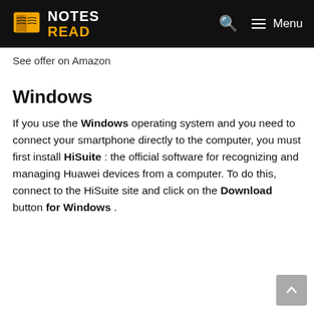NOTES READ — Menu
See offer on Amazon
Windows
If you use the Windows operating system and you need to connect your smartphone directly to the computer, you must first install HiSuite : the official software for recognizing and managing Huawei devices from a computer. To do this, connect to the HiSuite site and click on the Download button for Windows .